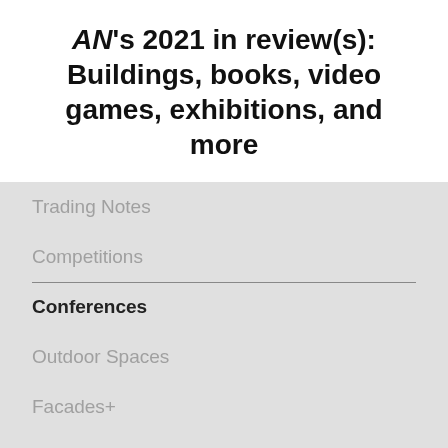AN's 2021 in review(s): Buildings, books, video games, exhibitions, and more
Trading Notes
Competitions
Conferences
Outdoor Spaces
Facades+
Tech+
TimberCon